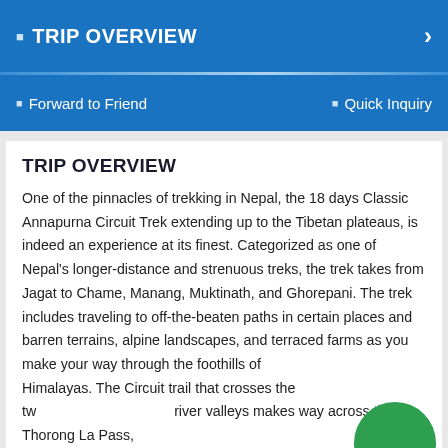TRIP OVERVIEW
Forward to Friend    Quick Inquiry
TRIP OVERVIEW
One of the pinnacles of trekking in Nepal, the 18 days Classic Annapurna Circuit Trek extending up to the Tibetan plateaus, is indeed an experience at its finest. Categorized as one of Nepal's longer-distance and strenuous treks, the trek takes from Jagat to Chame, Manang, Muktinath, and Ghorepani. The trek includes traveling to off-the-beaten paths in certain places and barren terrains, alpine landscapes, and terraced farms as you make your way through the foothills of Himalayas. The Circuit trail that crosses the two river valleys makes way across the Thorong La Pass,